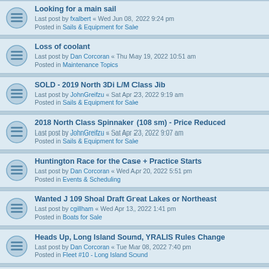Looking for a main sail
Last post by fxalbert « Wed Jun 08, 2022 9:24 pm
Posted in Sails & Equipment for Sale
Loss of coolant
Last post by Dan Corcoran « Thu May 19, 2022 10:51 am
Posted in Maintenance Topics
SOLD - 2019 North 3Di L/M Class Jib
Last post by JohnGreifzu « Sat Apr 23, 2022 9:19 am
Posted in Sails & Equipment for Sale
2018 North Class Spinnaker (108 sm) - Price Reduced
Last post by JohnGreifzu « Sat Apr 23, 2022 9:07 am
Posted in Sails & Equipment for Sale
Huntington Race for the Case + Practice Starts
Last post by Dan Corcoran « Wed Apr 20, 2022 5:51 pm
Posted in Events & Scheduling
Wanted J 109 Shoal Draft Great Lakes or Northeast
Last post by cgillham « Wed Apr 13, 2022 1:41 pm
Posted in Boats for Sale
Heads Up, Long Island Sound, YRALIS Rules Change
Last post by Dan Corcoran « Tue Mar 08, 2022 7:40 pm
Posted in Fleet #10 - Long Island Sound
Wanted J 109 Pacific Northwest
Last post by sailortodd « Mon Mar 07, 2022 11:53 pm
Posted in Boats for Sale
Wanted: J109
Last post by jeffrw « Sat Mar 05, 2022 9:04 pm